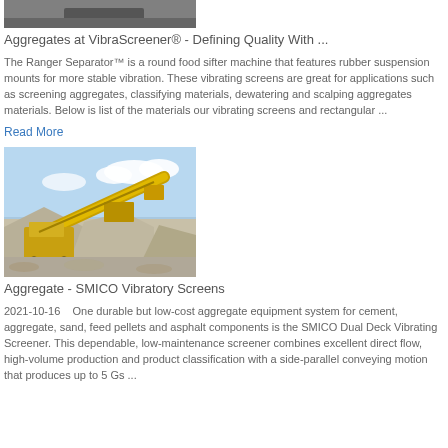[Figure (photo): Top portion of a machine/equipment photo (cropped), dark gray tones]
Aggregates at VibraScreener® - Defining Quality With ...
The Ranger Separator™ is a round food sifter machine that features rubber suspension mounts for more stable vibration. These vibrating screens are great for applications such as screening aggregates, classifying materials, dewatering and scalping aggregates materials. Below is list of the materials our vibrating screens and rectangular ...
Read More
[Figure (photo): Outdoor photo of yellow aggregate crushing and screening machinery at a quarry with piles of gravel/aggregate and blue sky]
Aggregate - SMICO Vibratory Screens
2021-10-16    One durable but low-cost aggregate equipment system for cement, aggregate, sand, feed pellets and asphalt components is the SMICO Dual Deck Vibrating Screener. This dependable, low-maintenance screener combines excellent direct flow, high-volume production and product classification with a side-parallel conveying motion that produces up to 5 Gs ...